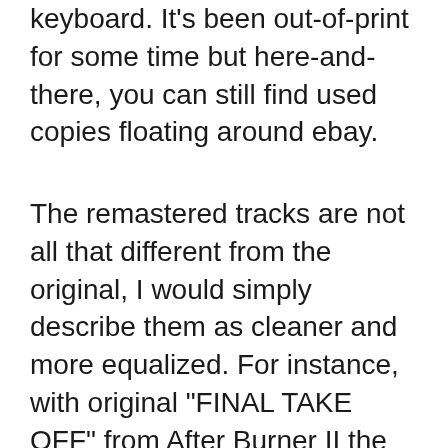keyboard. It's been out-of-print for some time but here-and-there, you can still find used copies floating around ebay.
The remastered tracks are not all that different from the original, I would simply describe them as cleaner and more equalized. For instance, with original "FINAL TAKE OFF" from After Burner II the synthesizer is buried in the background of the bass progression and upon casually